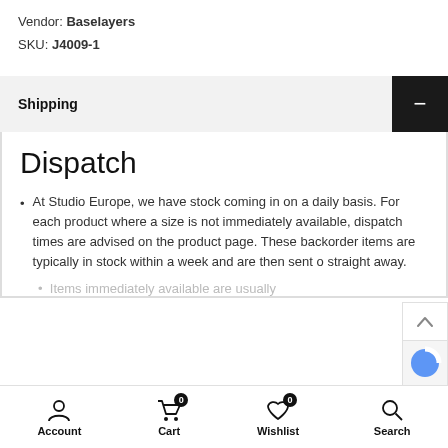Vendor: Baselayers
SKU: J4009-1
Shipping
Dispatch
At Studio Europe, we have stock coming in on a daily basis. For each product where a size is not immediately available, dispatch times are advised on the product page. These backorder items are typically in stock within a week and are then sent out straight away.
Items immediately available are usually...
Account  Cart 0  Wishlist 0  Search